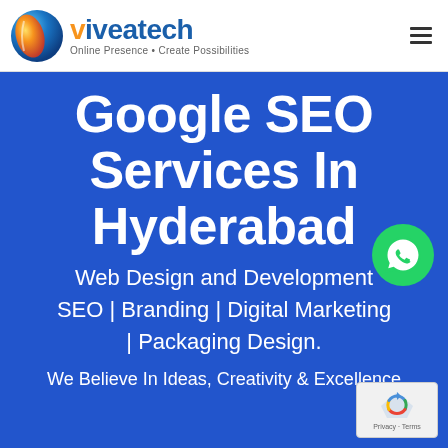[Figure (logo): Viveatech logo with orange and blue globe icon, company name 'viveatech' in blue with orange 'v', tagline 'Online Presence • Create Possibilities']
Google SEO Services In Hyderabad
Web Design and Development SEO | Branding | Digital Marketing | Packaging Design.
We Believe In Ideas, Creativity & Excellence